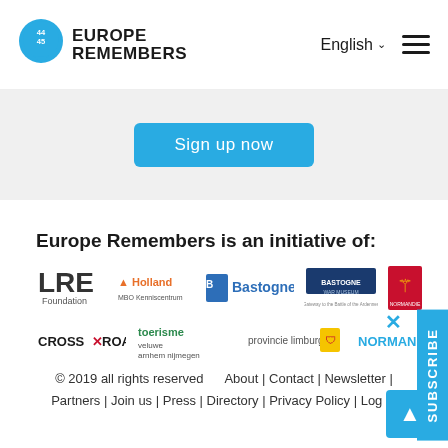Europe Remembers | English
Remembers marketing materials to design your own
Sign up now
Europe Remembers is an initiative of:
[Figure (logo): LRE Foundation logo]
[Figure (logo): Holland logo]
[Figure (logo): Bastogne logo]
[Figure (logo): Bastogne War Museum logo]
[Figure (logo): Normandie logo]
[Figure (logo): CrossRoads logo]
[Figure (logo): Toerisme Veluwe Arnhem Nijmegen logo]
[Figure (logo): Provincie Limburg logo]
[Figure (logo): Normandie (region) logo]
© 2019 all rights reserved   About | Contact | Newsletter | Partners | Join us | Press | Directory | Privacy Policy | Log In